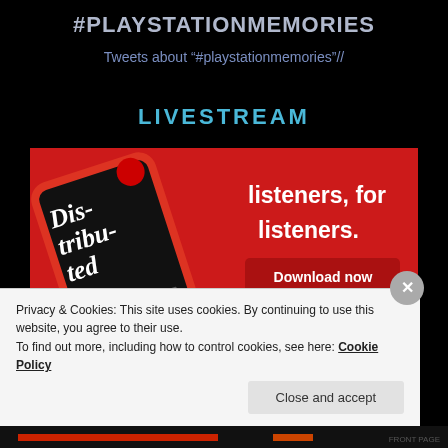#PLAYSTATIONMEMORIES
Tweets about "#playstationmemories"//
LIVESTREAM
[Figure (screenshot): Advertisement screenshot showing a smartphone with 'Distributed' podcast app on a red background. Text reads 'listeners, for listeners.' with a 'Download now' button.]
Privacy & Cookies: This site uses cookies. By continuing to use this website, you agree to their use.
To find out more, including how to control cookies, see here: Cookie Policy
Close and accept